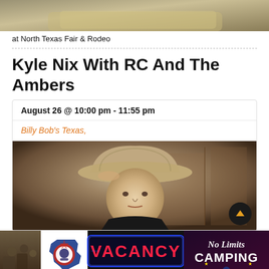[Figure (photo): Top cropped photo showing a couch or cushioned furniture with warm yellow/tan tones]
at North Texas Fair & Rodeo
Kyle Nix With RC And The Ambers
August 26 @ 10:00 pm - 11:55 pm
Billy Bob's Texas,
[Figure (photo): Photo of a man wearing a tan cowboy hat looking at the camera, holding his hat brim, with rustic wooden background]
[Figure (photo): Advertisement banner for No Limits Camping VACANCY with Texas logo, neon sign style text]